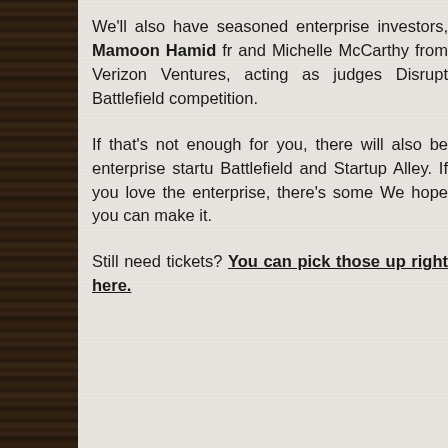We'll also have seasoned enterprise investors, Mamoon Hamid fr and Michelle McCarthy from Verizon Ventures, acting as judges Disrupt Battlefield competition.
If that's not enough for you, there will also be enterprise startu Battlefield and Startup Alley. If you love the enterprise, there's some We hope you can make it.
Still need tickets? You can pick those up right here.